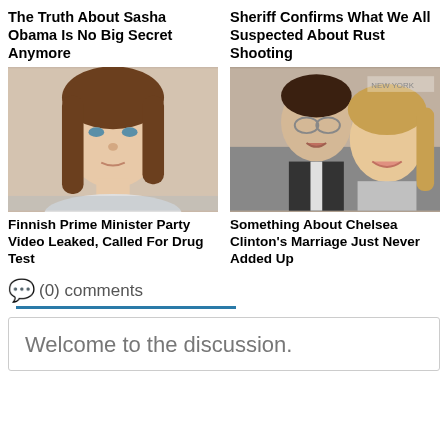The Truth About Sasha Obama Is No Big Secret Anymore
Sheriff Confirms What We All Suspected About Rust Shooting
[Figure (photo): Portrait photo of a young woman with brown hair]
[Figure (photo): Photo of a man with glasses and a woman smiling together]
Finnish Prime Minister Party Video Leaked, Called For Drug Test
Something About Chelsea Clinton's Marriage Just Never Added Up
💬 (0) comments
Welcome to the discussion.